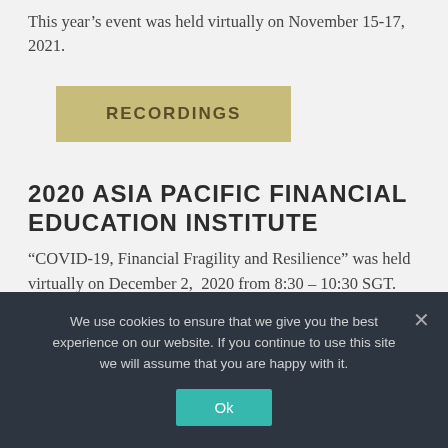This year's event was held virtually on November 15-17, 2021.
RECORDINGS
2020 ASIA PACIFIC FINANCIAL EDUCATION INSTITUTE
“COVID-19, Financial Fragility and Resilience” was held virtually on December 2, 2020 from 8:30 – 10:30 SGT.
Speakers include the former Indonesian Finance Minister, Muhamad Chatib Basri; the Deputy Governor of the Central Bank of the Philippines,
We use cookies to ensure that we give you the best experience on our website. If you continue to use this site we will assume that you are happy with it.